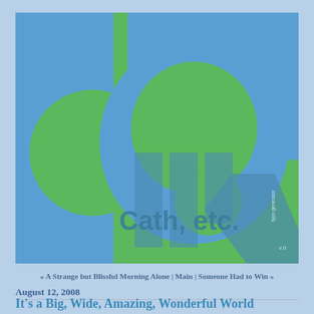[Figure (illustration): Colorful typographic logo/header image with large blue and green letters spelling 'da' and 'Cath, etc.' with 'typo generator' watermark in the bottom right corner. Background is green and blue with overlapping large letterforms.]
« A Strange but Blissful Morning Alone | Main | Someone Had to Win »
August 12, 2008
It's a Big, Wide, Amazing, Wonderful World